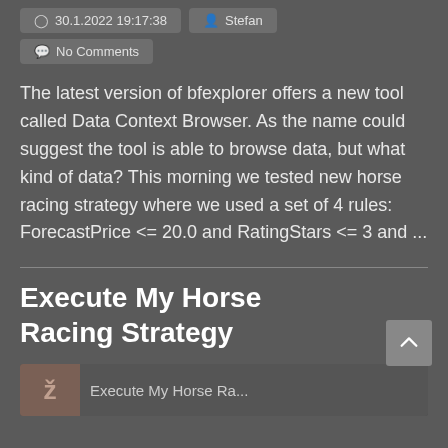30.1.2022 19:17:38  Stefan
No Comments
The latest version of bfexplorer offers a new tool called Data Context Browser. As the name could suggest the tool is able to browse data, but what kind of data? This morning we tested new horse racing strategy where we used a set of 4 rules: ForecastPrice <= 20.0 and RatingStars <= 3 and ...
Execute My Horse Racing Strategy
[Figure (screenshot): Thumbnail image showing an article preview for Execute My Horse Racing Strategy with a horse racing related image on the left and partial text on the right]